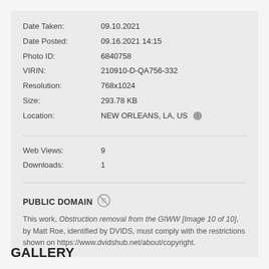| Date Taken: | 09.10.2021 |
| Date Posted: | 09.16.2021 14:15 |
| Photo ID: | 6840758 |
| VIRIN: | 210910-D-QA756-332 |
| Resolution: | 768x1024 |
| Size: | 293.78 KB |
| Location: | NEW ORLEANS, LA, US |
Web Views: 9
Downloads: 1
PUBLIC DOMAIN
This work, Obstruction removal from the GIWW [Image 10 of 10], by Matt Roe, identified by DVIDS, must comply with the restrictions shown on https://www.dvidshub.net/about/copyright.
GALLERY